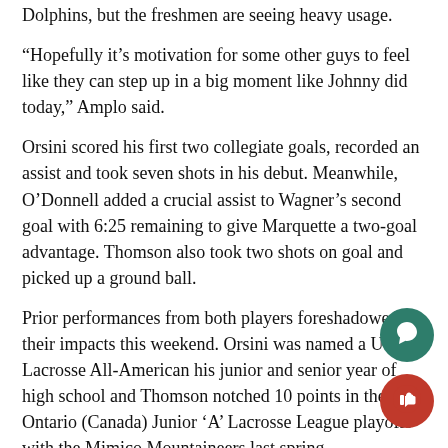Dolphins, but the freshmen are seeing heavy usage.
“Hopefully it’s motivation for some other guys to feel like they can step up in a big moment like Johnny did today,” Amplo said.
Orsini scored his first two collegiate goals, recorded an assist and took seven shots in his debut. Meanwhile, O’Donnell added a crucial assist to Wagner’s second goal with 6:25 remaining to give Marquette a two-goal advantage. Thomson also took two shots on goal and picked up a ground ball.
Prior performances from both players foreshadowed their impacts this weekend. Orsini was named a U.S. Lacrosse All-American his junior and senior year of high school and Thomson notched 10 points in the Ontario (Canada) Junior ‘A’ Lacrosse League playoffs with the Mimico Mountaineers last spring.
The four players have been working with each other since the fall. O’Donnell and Fleming have been on campus since 2016 after both sustained knee injuries that kept them out of last year’s season.